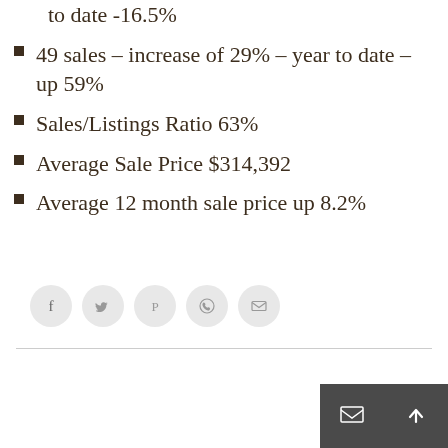to date -16.5%
49 sales – increase of 29% – year to date – up 59%
Sales/Listings Ratio 63%
Average Sale Price $314,392
Average 12 month sale price up 8.2%
[Figure (other): Social sharing buttons: Facebook, Twitter, Pinterest, WhatsApp, Email]
[Figure (other): Bottom navigation buttons: mail icon and up arrow icon]